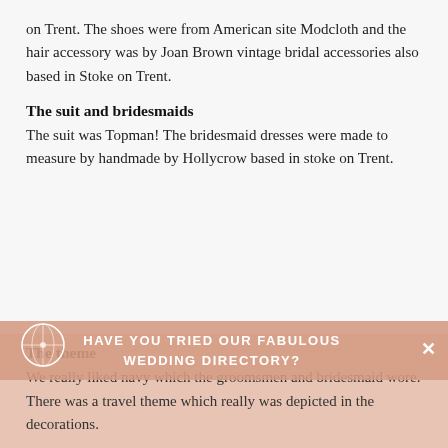on Trent. The shoes were from American site Modcloth and the hair accessory was by Joan Brown vintage bridal accessories also based in Stoke on Trent.
The suit and bridesmaids
The suit was Topman! The bridesmaid dresses were made to measure by handmade by Hollycrow based in stoke on Trent.
The theme
We really liked navy which the groomsmen and bridesmaid wore. There was a travel theme which really was depicted in the decorations.
HAVE YOU TRIED OUR FABULOUS WEDDING DIRECTORY?